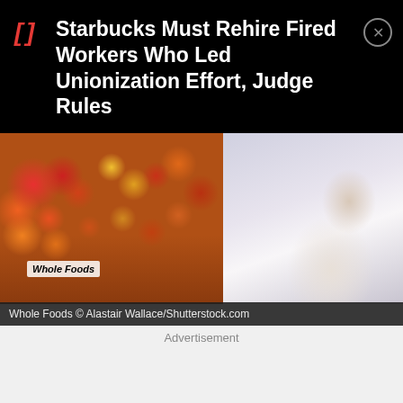Starbucks Must Rehire Fired Workers Who Led Unionization Effort, Judge Rules
[Figure (photo): Split image: left side shows a Whole Foods produce display with fruits and vegetables in wooden crates; right side shows a person in a white shirt giving a thumbs up gesture]
Whole Foods © Alastair Wallace/Shutterstock.com
Advertisement